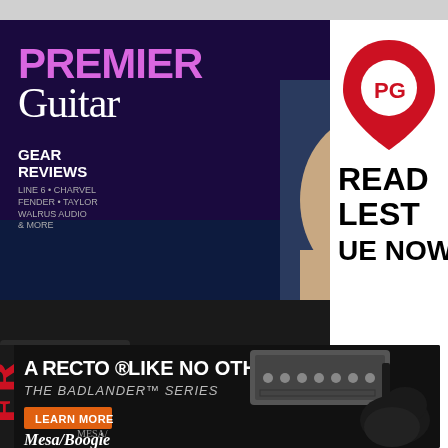[Figure (screenshot): Premier Guitar magazine cover showing Matt Bellamy from Muse, with text 'DISRUPTOR - Muse's Matt Bellamy on Will of the People', gear reviews mentions, and a video player overlay with a guitarist in a studio]
[Figure (logo): Premier Guitar PG red guitar pick logo with text READ LATEST ISSUE NOW!]
[Figure (photo): Mesa Boogie advertisement: A RECTO LIKE NO OTHER - THE BADLANDER SERIES with LEARN MORE button and Mesa/Boogie logo, showing a guitar amp head and electric guitar]